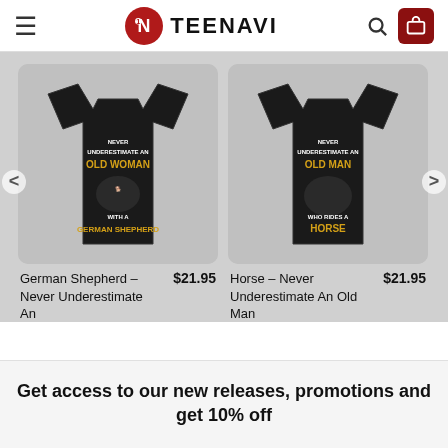TEENAVI
[Figure (photo): Black t-shirt with text 'NEVER UNDERESTIMATE AN OLD WOMAN WITH A GERMAN SHEPHERD' with dog graphic]
German Shepherd – Never Underestimate An
$21.95
[Figure (photo): Black t-shirt with text 'NEVER UNDERESTIMATE AN OLD MAN WHO RIDES A HORSE' with horse and rider graphic]
Horse – Never Underestimate An Old Man
$21.95
Get access to our new releases, promotions and get 10% off